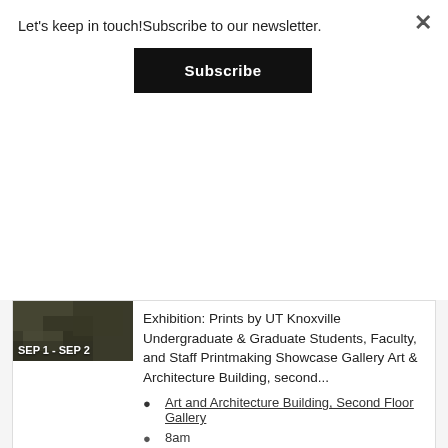Let's keep in touch!Subscribe to our newsletter.
[Figure (other): Subscribe button — black rectangular button with white bold text 'Subscribe']
[Figure (photo): Dark textured image with white bold text 'SEP 1 - SEP 2' overlaid as a date badge]
Exhibition: Prints by UT Knoxville Undergraduate & Graduate Students, Faculty, and Staff Printmaking Showcase Gallery Art & Architecture Building, second...
Art and Architecture Building, Second Floor Gallery
8am